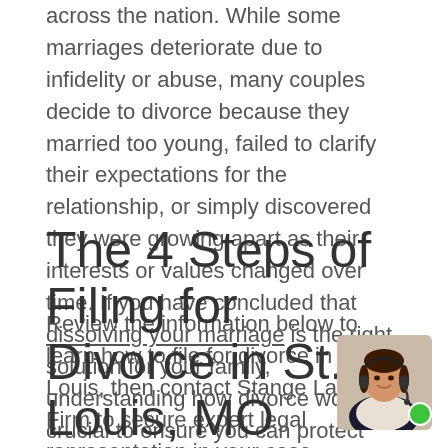across the nation. While some marriages deteriorate due to infidelity or abuse, many couples decide to divorce because they married too young, failed to clarify their expectations for the relationship, or simply discovered they were growing apart as their interests or values changed over time. If you have concluded that dissolving your marriage is the right solution for your family, understanding how divorce works is crucial to ensure you can protect your rights and achieve the best outcome for your future.
Review the information below to learn how to file for divorce in St. Louis, then contact Stange Law Firm to secure expert legal representation in your case.
The 4 Steps of Filing for Divorce in St. Louis, MO
[Figure (photo): Customer service representative with headset, green online indicator dot]